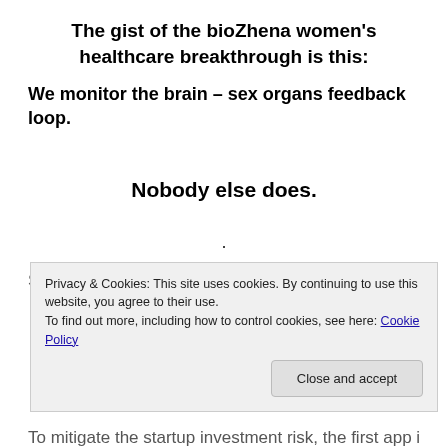The gist of the bioZhena women’s healthcare breakthrough is this:
We monitor the brain – sex organs feedback loop.
Nobody else does.
.
See the illustration below. See the significance. Th
Privacy & Cookies: This site uses cookies. By continuing to use this website, you agree to their use.
To find out more, including how to control cookies, see here: Cookie Policy
To mitigate the startup investment risk, the first app is an